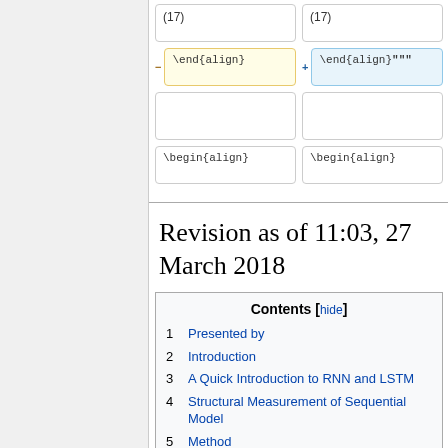[Figure (other): Diff view showing two columns of LaTeX code changes. Top row: (17) in both columns. Second row: removed cell with '\end{align}' (yellow highlight, minus sign) and added cell with '\end{align}""' (blue highlight, plus sign). Third row: two empty cells. Fourth row: two cells both containing '\begin{align}'.]
Revision as of 11:03, 27 March 2018
Contents [hide]
1 Presented by
2 Introduction
3 A Quick Introduction to RNN and LSTM
4 Structural Measurement of Sequential Model
5 Method
  5.1 Part 1: Tensorize RNN hidden State vectors